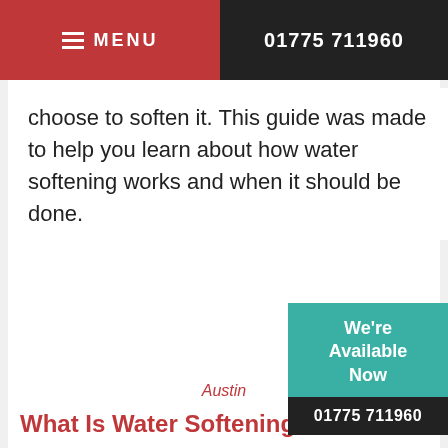MENU | 01775 711960
choose to soften it. This guide was made to help you learn about how water softening works and when it should be done.
We're Available Now
01775 711960
Austin
What Is Water Softening?